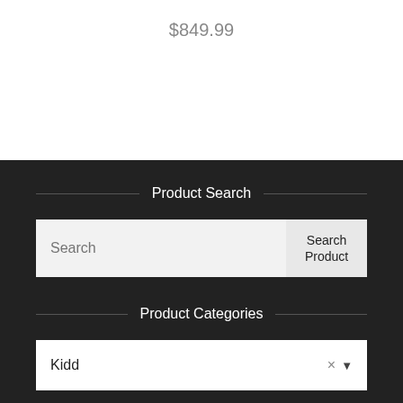$849.99
Product Search
Search
Search Product
Product Categories
Kidd